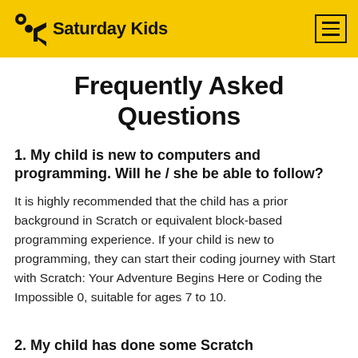Saturday Kids
Frequently Asked Questions
1. My child is new to computers and programming. Will he / she be able to follow?
It is highly recommended that the child has a prior background in Scratch or equivalent block-based programming experience. If your child is new to programming, they can start their coding journey with Start with Scratch: Your Adventure Begins Here or Coding the Impossible 0, suitable for ages 7 to 10.
2. My child has done some Scratch